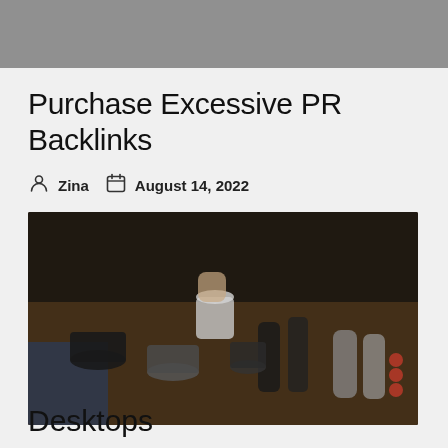[Figure (photo): Top gray banner/header image placeholder]
Purchase Excessive PR Backlinks
Zina   August 14, 2022
[Figure (photo): Dark moody photo of various mugs, cups, and bottles arranged on a wooden surface with a hand reaching in from the top]
Desktops